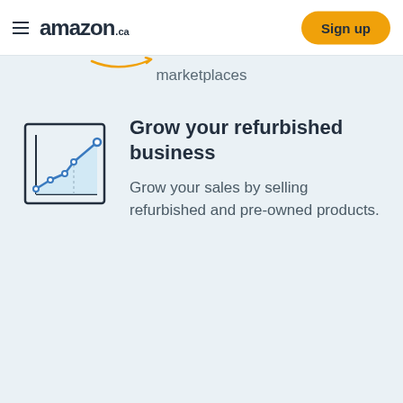amazon.ca  Sign up
marketplaces
[Figure (illustration): Line chart icon showing an upward trending line with a light blue shaded area beneath it, inside a square frame with axis lines.]
Grow your refurbished business
Grow your sales by selling refurbished and pre-owned products.